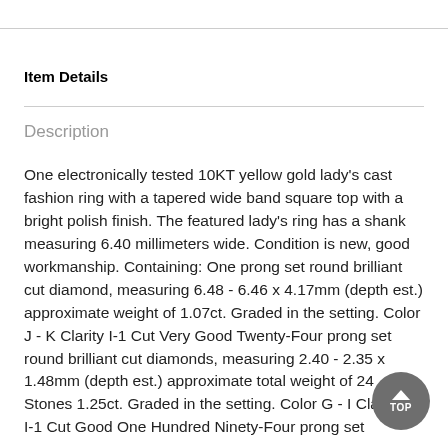Item Details
Description
One electronically tested 10KT yellow gold lady's cast fashion ring with a tapered wide band square top with a bright polish finish. The featured lady's ring has a shank measuring 6.40 millimeters wide. Condition is new, good workmanship. Containing: One prong set round brilliant cut diamond, measuring 6.48 - 6.46 x 4.17mm (depth est.) approximate weight of 1.07ct. Graded in the setting. Color J - K Clarity I-1 Cut Very Good Twenty-Four prong set round brilliant cut diamonds, measuring 2.40 - 2.35 x 1.48mm (depth est.) approximate total weight of 24 Stones 1.25ct. Graded in the setting. Color G - I Clarity to I-1 Cut Good One Hundred Ninety-Four prong set round brilliant cut diamonds, measuring approximately 1.00 x 0.65mm